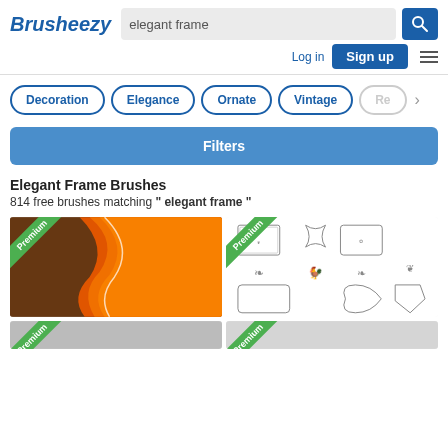Brusheezy
elegant frame (search query)
Decoration
Elegance
Ornate
Vintage
Re...
Filters
Elegant Frame Brushes
814 free brushes matching " elegant frame "
[Figure (photo): Premium orange and brown wavy abstract background texture]
[Figure (illustration): Premium collection of elegant decorative frame brushes shown as black and white illustrations on white background]
[Figure (photo): Partial view of another premium item (bottom row left)]
[Figure (photo): Partial view of another premium item (bottom row right)]